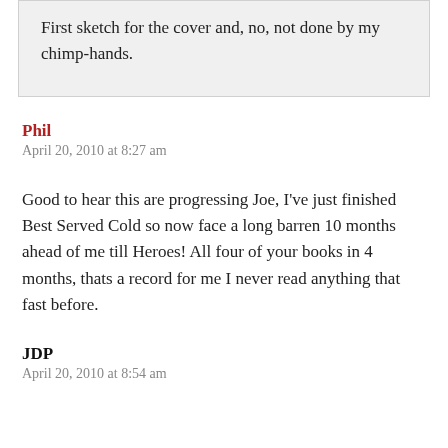First sketch for the cover and, no, not done by my chimp-hands.
Phil
April 20, 2010 at 8:27 am
Good to hear this are progressing Joe, I’ve just finished Best Served Cold so now face a long barren 10 months ahead of me till Heroes! All four of your books in 4 months, thats a record for me I never read anything that fast before.
JDP
April 20, 2010 at 8:54 am